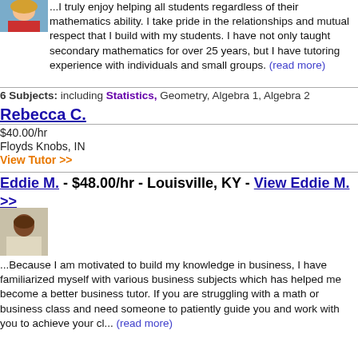[Figure (photo): Profile photo of a woman with blonde hair wearing a red top]
...I truly enjoy helping all students regardless of their mathematics ability. I take pride in the relationships and mutual respect that I build with my students. I have not only taught secondary mathematics for over 25 years, but I have tutoring experience with individuals and small groups. (read more)
6 Subjects: including Statistics, Geometry, Algebra 1, Algebra 2
Rebecca C.
$40.00/hr
Floyds Knobs, IN
View Tutor >>
Eddie M. - $48.00/hr - Louisville, KY - View Eddie M. >>
[Figure (photo): Profile photo of a man with short hair wearing a light shirt]
...Because I am motivated to build my knowledge in business, I have familiarized myself with various business subjects which has helped me become a better business tutor. If you are struggling with a math or business class and need someone to patiently guide you and work with you to achieve your cl... (read more)